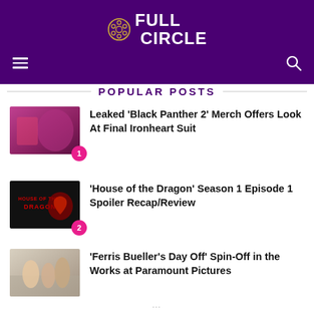FULL CIRCLE
POPULAR POSTS
[Figure (photo): Thumbnail image for Black Panther 2 Ironheart article]
Leaked 'Black Panther 2' Merch Offers Look At Final Ironheart Suit
[Figure (photo): Thumbnail image for House of the Dragon Season 1 Episode 1 article]
'House of the Dragon' Season 1 Episode 1 Spoiler Recap/Review
[Figure (photo): Thumbnail image for Ferris Bueller's Day Off spin-off article]
'Ferris Bueller's Day Off' Spin-Off in the Works at Paramount Pictures